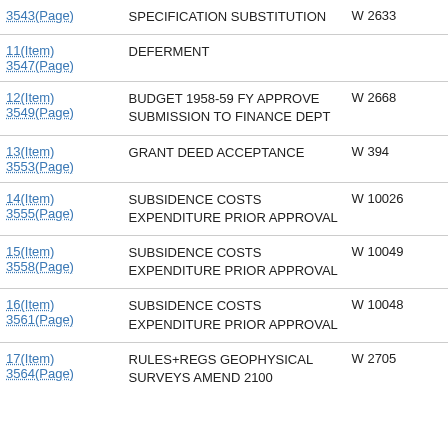|  |  |  |
| --- | --- | --- |
| 3543(Page) | SPECIFICATION SUBSTITUTION | W 2633 |
| 11(Item)
3547(Page) | DEFERMENT |  |
| 12(Item)
3549(Page) | BUDGET 1958-59 FY APPROVE SUBMISSION TO FINANCE DEPT | W 2668 |
| 13(Item)
3553(Page) | GRANT DEED ACCEPTANCE | W 394 |
| 14(Item)
3555(Page) | SUBSIDENCE COSTS EXPENDITURE PRIOR APPROVAL | W 10026 |
| 15(Item)
3558(Page) | SUBSIDENCE COSTS EXPENDITURE PRIOR APPROVAL | W 10049 |
| 16(Item)
3561(Page) | SUBSIDENCE COSTS EXPENDITURE PRIOR APPROVAL | W 10048 |
| 17(Item)
3564(Page) | RULES+REGS GEOPHYSICAL SURVEYS AMEND 2100 | W 2705 |